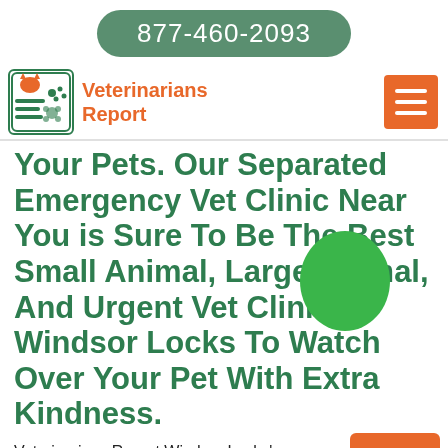877-460-2093
[Figure (logo): Veterinarians Report logo with icon and navigation hamburger menu]
Your Pets. Our Separated Emergency Vet Clinic Near You is Sure To Be The Best Small Animal, Large Animal, And Urgent Vet Clinic in Windsor Locks To Watch Over Your Pet With Extra Kindness.
Veterinarians Report Windsor Locks's emergency doctors are focused toward Emergency Treatment To Treat Your Pet. Our emergency